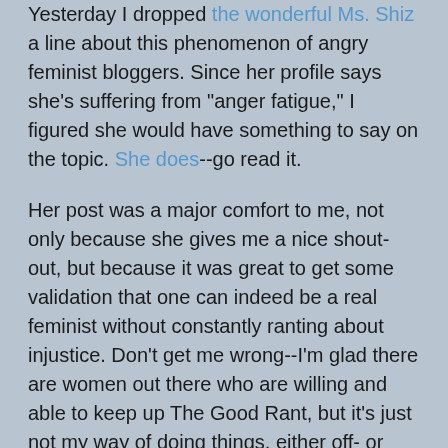Yesterday I dropped the wonderful Ms. Shiz a line about this phenomenon of angry feminist bloggers. Since her profile says she's suffering from "anger fatigue," I figured she would have something to say on the topic. She does--go read it.
Her post was a major comfort to me, not only because she gives me a nice shout-out, but because it was great to get some validation that one can indeed be a real feminist without constantly ranting about injustice. Don't get me wrong--I'm glad there are women out there who are willing and able to keep up The Good Rant, but it's just not my way of doing things, either off- or online.
Surely there are those who would criticize me for my failure to attempt to use this little blog as a tiny platform for rallying for social justice. Maybe I don't do so because I've read too much feminist theory. I suspect everything that could be said on these subjects has been said far more eloquently or intelligently elsewhere.
Honestly, I prefer reading feminist blogs from people I would normally make the mistake of assuming aren't feminists, or whose views don't jibe 100%, or even 50%, with the radical